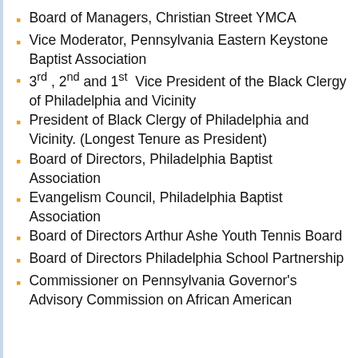Board of Managers, Christian Street YMCA
Vice Moderator, Pennsylvania Eastern Keystone Baptist Association
3rd , 2nd and 1st  Vice President of the Black Clergy of Philadelphia and Vicinity
President of Black Clergy of Philadelphia and Vicinity. (Longest Tenure as President)
Board of Directors, Philadelphia Baptist Association
Evangelism Council, Philadelphia Baptist Association
Board of Directors Arthur Ashe Youth Tennis Board
Board of Directors Philadelphia School Partnership
Commissioner on Pennsylvania Governor’s Advisory Commission on African American